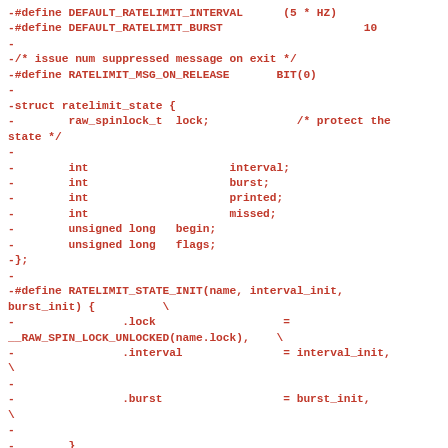-#define DEFAULT_RATELIMIT_INTERVAL      (5 * HZ)
-#define DEFAULT_RATELIMIT_BURST                     10
-
-/* issue num suppressed message on exit */
-#define RATELIMIT_MSG_ON_RELEASE       BIT(0)
-
-struct ratelimit_state {
-        raw_spinlock_t  lock;             /* protect the state */
-
-        int                     interval;
-        int                     burst;
-        int                     printed;
-        int                     missed;
-        unsigned long   begin;
-        unsigned long   flags;
-};
-
-#define RATELIMIT_STATE_INIT(name, interval_init, burst_init) {          \
-                .lock                   = __RAW_SPIN_LOCK_UNLOCKED(name.lock),     \
-                .interval               = interval_init,          \
-
-                .burst                  = burst_init,          \
-
-        }
-
-#define RATELIMIT_STATE_INIT_DISABLED